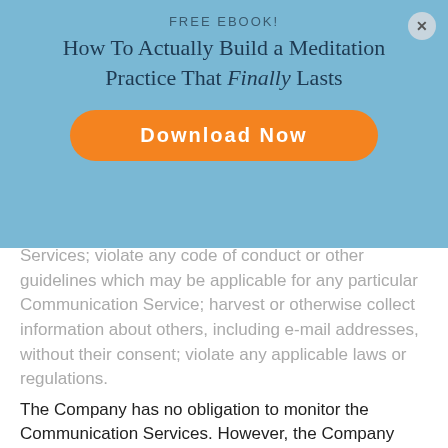FREE EBOOK!
How To Actually Build a Meditation Practice That Finally Lasts
[Figure (other): Orange Download Now button]
Services; violate any code of conduct or other guidelines which may be applicable for any particular Communication Service; harvest or otherwise collect information about others, including e-mail addresses, without their consent; violate any applicable laws or regulations.
The Company has no obligation to monitor the Communication Services. However, the Company reserves the right to review materials posted to a Communication Service and to remove any materials in its sole